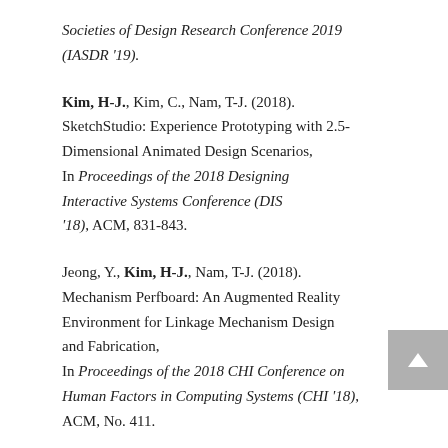Societies of Design Research Conference 2019 (IASDR '19).
Kim, H-J., Kim, C., Nam, T-J. (2018). SketchStudio: Experience Prototyping with 2.5-Dimensional Animated Design Scenarios, In Proceedings of the 2018 Designing Interactive Systems Conference (DIS '18), ACM, 831-843.
Jeong, Y., Kim, H-J., Nam, T-J. (2018). Mechanism Perfboard: An Augmented Reality Environment for Linkage Mechanism Design and Fabrication, In Proceedings of the 2018 CHI Conference on Human Factors in Computing Systems (CHI '18), ACM, No. 411.